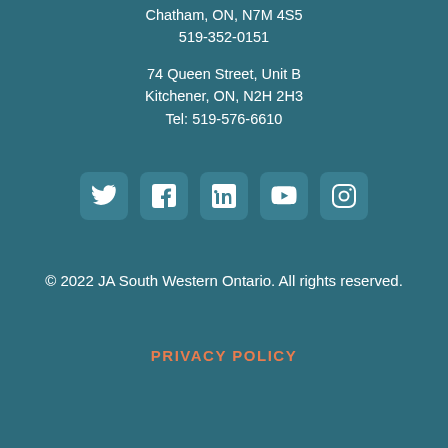Chatham, ON, N7M 4S5
519-352-0151
74 Queen Street, Unit B
Kitchener, ON, N2H 2H3
Tel: 519-576-6610
[Figure (infographic): Row of 5 social media icons: Twitter, Facebook, LinkedIn, YouTube, Instagram, each in a rounded square box]
© 2022 JA South Western Ontario. All rights reserved.
PRIVACY POLICY